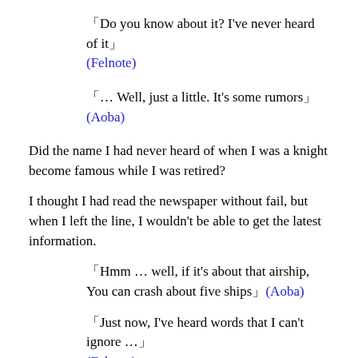「Do you know about it? I've never heard of it」(Felnote)
「… Well, just a little. It's some rumors」(Aoba)
Did the name I had never heard of when I was a knight become famous while I was retired?
I thought I had read the newspaper without fail, but when I left the line, I wouldn't be able to get the latest information.
「Hmm … well, if it's about that airship, You can crash about five ships」(Aoba)
「Just now, I've heard words that I can't ignore …」(Felnote)
「Because the movement was slow no matter how